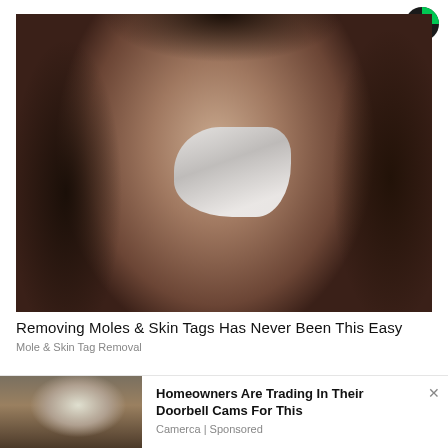[Figure (logo): Coinbase-style circular logo icon, top right corner]
[Figure (photo): Close-up photo of a woman with dark hair applying white substance to her nose with a toothbrush]
Removing Moles & Skin Tags Has Never Been This Easy
Mole & Skin Tag Removal
[Figure (photo): Outdoor wall-mounted light fixture with a white cylindrical camera attached to it]
Homeowners Are Trading In Their Doorbell Cams For This
Camerca | Sponsored